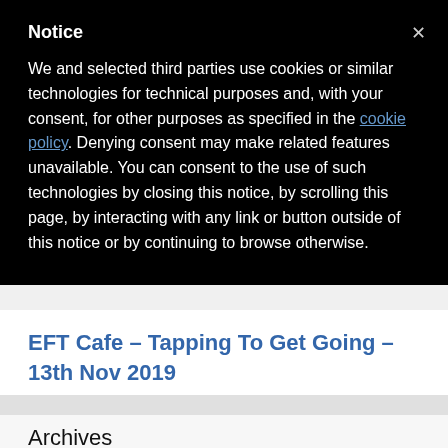Notice
We and selected third parties use cookies or similar technologies for technical purposes and, with your consent, for other purposes as specified in the cookie policy. Denying consent may make related features unavailable. You can consent to the use of such technologies by closing this notice, by scrolling this page, by interacting with any link or button outside of this notice or by continuing to browse otherwise.
EFT Cafe – Tapping To Get Going – 13th Nov 2019
Archives